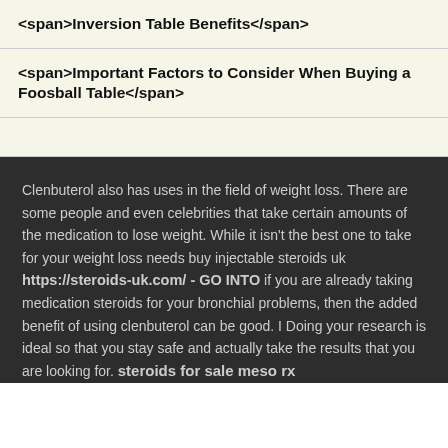<span>Inversion Table Benefits</span>
<span>Important Factors to Consider When Buying a Foosball Table</span>
Clenbuterol also has uses in the field of weight loss. There are some people and even celebrities that take certain amounts of the medication to lose weight. While it isn't the best one to take for your weight loss needs buy injectable steroids uk https://steroids-uk.com/ - GO INTO if you are already taking medication steroids for your bronchial problems, then the added benefit of using clenbuterol can be good. I Doing your research is ideal so that you stay safe and actually take the results that you are looking for. steroids for sale meso rx